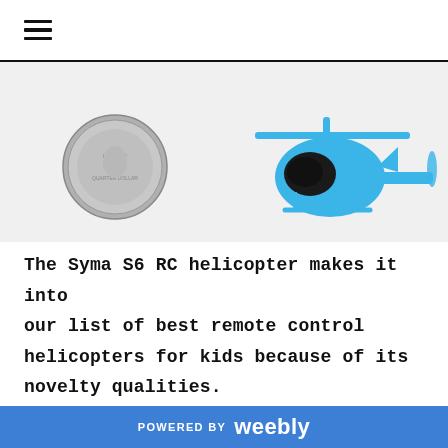☰ (hamburger menu)
[Figure (photo): A tiny blue Syma S6 RC helicopter next to a quarter dollar coin for size comparison, on a white background.]
The Syma S6 RC helicopter makes it into our list of best remote control helicopters for kids because of its novelty qualities.
This toy is TINY about the size of a quarter dollar put side by side, but
POWERED BY weebly